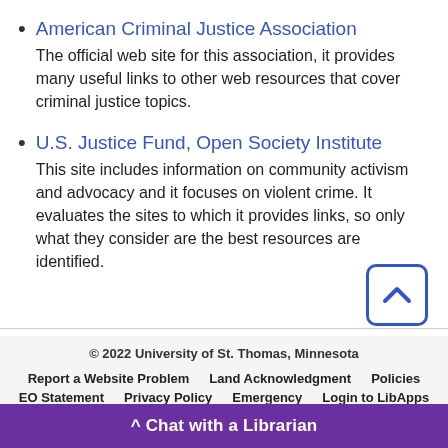American Criminal Justice Association
The official web site for this association, it provides many useful links to other web resources that cover criminal justice topics.
U.S. Justice Fund, Open Society Institute
This site includes information on community activism and advocacy and it focuses on violent crime. It evaluates the sites to which it provides links, so only what they consider are the best resources are identified.
© 2022 University of St. Thomas, Minnesota
Report a Website Problem   Land Acknowledgment   Policies
EO Statement   Privacy Policy   Emergency   Login to LibApps
^ Chat with a Librarian